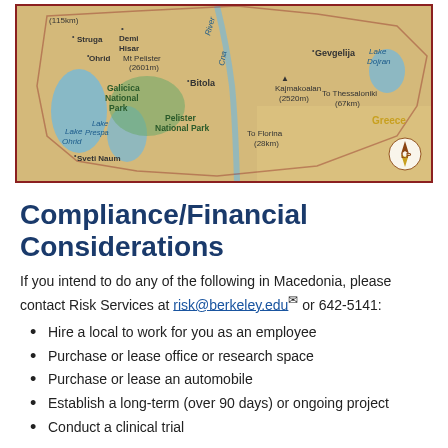[Figure (map): Map of Macedonia showing geographic features including Lake Ohrid, Galicica National Park, Lake Prespa, Pelister National Park, Bitola, Sveti Naum, Struga, Ohrid, Demi Hisar, Mt Pelister (2601m), Kajmakoalan (2520m), To Florina (28km), To Thessaloniki (67km), Gevgelija, Lake Dojran, Greece, with compass rose and scale.]
Compliance/Financial Considerations
If you intend to do any of the following in Macedonia, please contact Risk Services at risk@berkeley.edu or 642-5141:
Hire a local to work for you as an employee
Purchase or lease office or research space
Purchase or lease an automobile
Establish a long-term (over 90 days) or ongoing project
Conduct a clinical trial
U.S. GOVERNMENT COMPLIANCE CONSIDERATIONS
Foreign activities may trigger many U.S. laws, including: